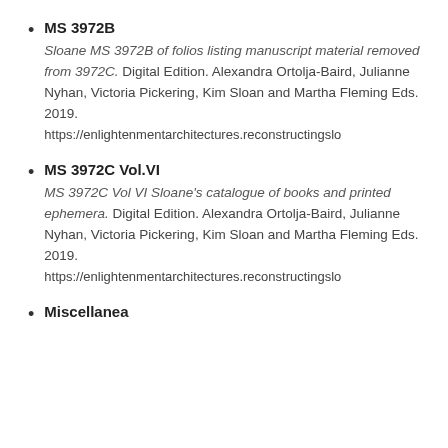MS 3972B
Sloane MS 3972B of folios listing manuscript material removed from 3972C. Digital Edition. Alexandra Ortolja-Baird, Julianne Nyhan, Victoria Pickering, Kim Sloan and Martha Fleming Eds. 2019.
https://enlightenmentarchitectures.reconstructingslo
MS 3972C Vol.VI
MS 3972C Vol VI Sloane's catalogue of books and printed ephemera. Digital Edition. Alexandra Ortolja-Baird, Julianne Nyhan, Victoria Pickering, Kim Sloan and Martha Fleming Eds. 2019.
https://enlightenmentarchitectures.reconstructingslo
Miscellanea